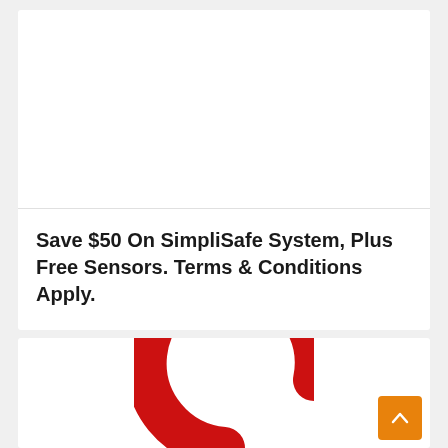Save $50 On SimpliSafe System, Plus Free Sensors. Terms & Conditions Apply.
[Figure (logo): Partial red circular logo or icon visible at bottom of page, resembling a home security brand mark]